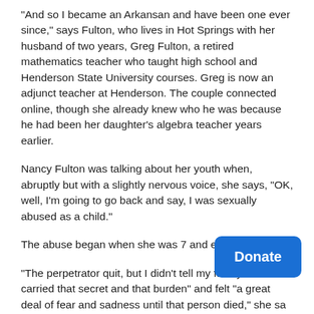“And so I became an Arkansan and have been one ever since,” says Fulton, who lives in Hot Springs with her husband of two years, Greg Fulton, a retired mathematics teacher who taught high school and Henderson State University courses. Greg is now an adjunct teacher at Henderson. The couple connected online, though she already knew who he was because he had been her daughter’s algebra teacher years earlier.
Nancy Fulton was talking about her youth when, abruptly but with a slightly nervous voice, she says, “OK, well, I’m going to go back and say, I was sexually abused as a child.”
The abuse began when she was 7 and ended at 12.
“The perpetrator quit, but I didn’t tell my family so I carried that secret and that burden” and felt “a great deal of fear and sadness until that person died,” she sa…
Though she had “difficulty connecting with people
[Figure (other): Blue Donate button overlay in bottom-right corner]